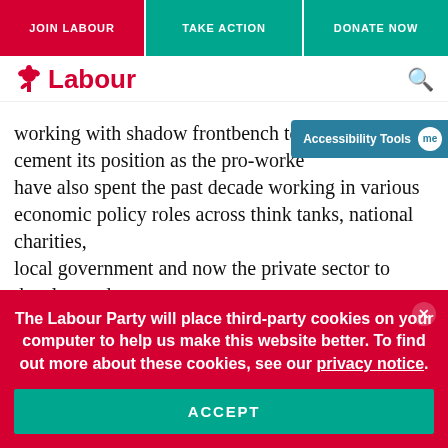JOIN LABOUR | TAKE ACTION | DONATE NOW
[Figure (logo): Labour Party rose logo with text 'Labour' in red]
working with shadow frontbench teams to cement its position as the pro-worker party. I have also spent the past decade working in various economic policy roles across think tanks, national charities, local government and now the private sector to develop and champion policies which help businesses of all sizes across the UK create well-paid jobs. These experiences make me well-placed to contribute to the NRF's economic
The Labour Party will place third-party cookies on your computer to help us make this website better. To find out more about these cookies, see our privacy notice.
ACCEPT